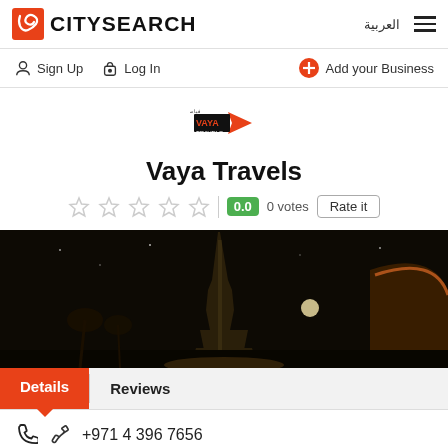CITYSEARCH | العربية
Sign Up   Log In   Add your Business
[Figure (logo): Vaya Travels company logo — red and black stylized logo with Arabic text]
Vaya Travels
0.0  0 votes  Rate it
[Figure (photo): Night photo of the Burj Khalifa tower in Dubai with dark sky and moon visible]
Details  Reviews
+971 4 396 7656